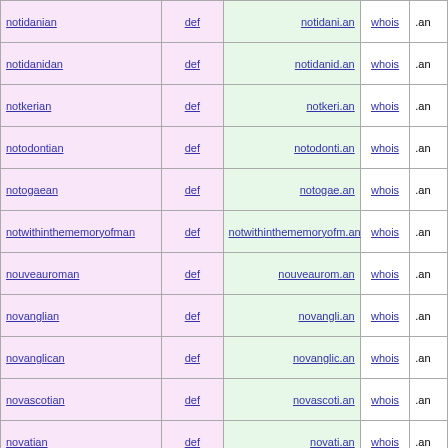| word | type | domain |  | tld |
| --- | --- | --- | --- | --- |
| notidanian | def | notidani.an | whois | .an |
| notidanidan | def | notidanid.an | whois | .an |
| notkerian | def | notkeri.an | whois | .an |
| notodontian | def | notodonti.an | whois | .an |
| notogaean | def | notogae.an | whois | .an |
| notwithinthememoryofman | def | notwithinthememoryofm.an | whois | .an |
| nouveauroman | def | nouveaurom.an | whois | .an |
| novanglian | def | novangli.an | whois | .an |
| novanglican | def | novanglic.an | whois | .an |
| novascotian | def | novascoti.an | whois | .an |
| novatian | def | novati.an | whois | .an |
| novozelanian | def | novozelani.an | whois | .an |